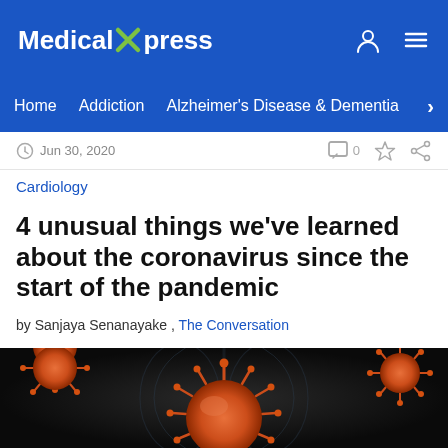Medical Xpress
Home  Addiction  Alzheimer's Disease & Dementia
Jun 30, 2020
Cardiology
4 unusual things we've learned about the coronavirus since the start of the pandemic
by Sanjaya Senanayake , The Conversation
[Figure (photo): 3D illustration of orange/red coronavirus particles against a dark background with a chest X-ray visible behind them]